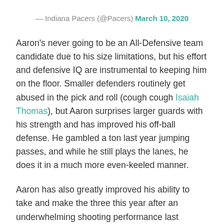— Indiana Pacers (@Pacers) March 10, 2020
Aaron's never going to be an All-Defensive team candidate due to his size limitations, but his effort and defensive IQ are instrumental to keeping him on the floor. Smaller defenders routinely get abused in the pick and roll (cough cough Isaiah Thomas), but Aaron surprises larger guards with his strength and has improved his off-ball defense. He gambled a ton last year jumping passes, and while he still plays the lanes, he does it in a much more even-keeled manner.
Aaron has also greatly improved his ability to take and make the three this year after an underwhelming shooting performance last season.